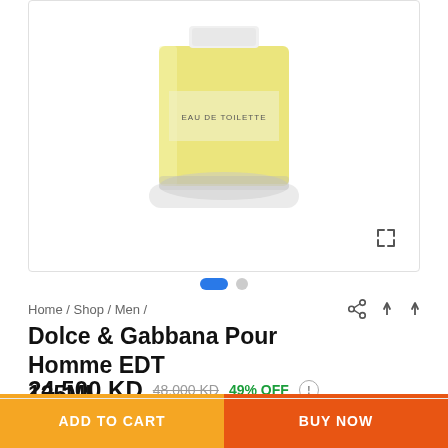[Figure (photo): Product photo of Dolce & Gabbana Pour Homme EDT 125ML perfume bottle — square glass bottle with yellow/gold liquid, transparent glass base, white cap with 'EAU DE TOILETTE' text on label, expand icon in bottom-right corner]
Home / Shop / Men /
Dolce & Gabbana Pour Homme EDT 125ML
24.500 KD  48.000 KD  49% OFF  !
In Stock
Dolce & Gabbana
ADD TO CART
BUY NOW